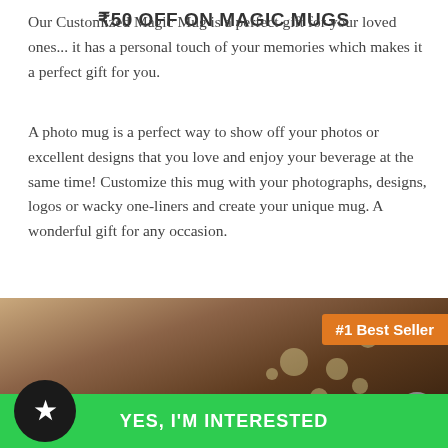Our Customized Magic Mug is a perfect gift for your loved ones... it has a personal touch of your memories which makes it a perfect gift for you.
A photo mug is a perfect way to show off your photos or excellent designs that you love and enjoy your beverage at the same time! Customize this mug with your photographs, designs, logos or wacky one-liners and create your unique mug. A wonderful gift for any occasion.
[Figure (photo): Product photo showing a person's head/hair with bokeh lights in background, with an orange '#1 Best Seller' badge overlay and a grey close (X) button]
₹50 OFF ON MAGIC MUGS
YES, I'M INTERESTED